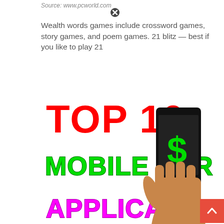Source: www.pcworld.com
Wealth words games include crossword games, story games, and poem games. 21 blitz — best if you like to play 21
[Figure (illustration): Promotional graphic showing 'TOP 10 MOBILE EARNING APPLICATIONS' text in red, green, and magenta/pink colors, alongside a hand holding a smartphone with a dollar sign on its screen.]
Source: usamatanoli.blogspot.com
There are many different choices, from arcade games to card favorites. They pay every 24 hours and i have